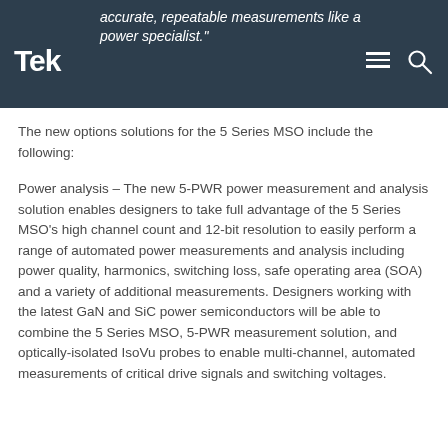"accurate, repeatable measurements like a power specialist."
The new options solutions for the 5 Series MSO include the following:
Power analysis – The new 5-PWR power measurement and analysis solution enables designers to take full advantage of the 5 Series MSO's high channel count and 12-bit resolution to easily perform a range of automated power measurements and analysis including power quality, harmonics, switching loss, safe operating area (SOA) and a variety of additional measurements. Designers working with the latest GaN and SiC power semiconductors will be able to combine the 5 Series MSO, 5-PWR measurement solution, and optically-isolated IsoVu probes to enable multi-channel, automated  measurements of critical drive signals and switching voltages.